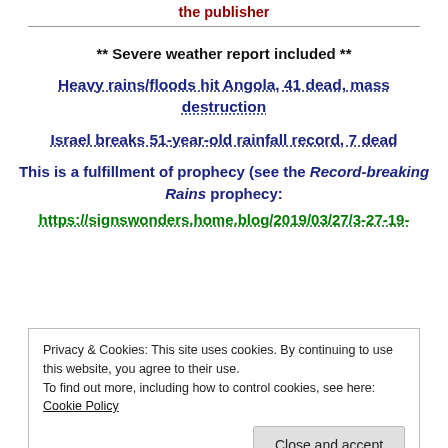the publisher
** Severe weather report included **
Heavy rains/floods hit Angola, 41 dead, mass destruction
Israel breaks 51-year-old rainfall record, 7 dead
This is a fulfillment of prophecy (see the Record-breaking Rains prophecy:
https://signswonders.home.blog/2019/03/27/3-27-19-
Privacy & Cookies: This site uses cookies. By continuing to use this website, you agree to their use. To find out more, including how to control cookies, see here: Cookie Policy
This is a fulfillment of prophecy (see the Imminent